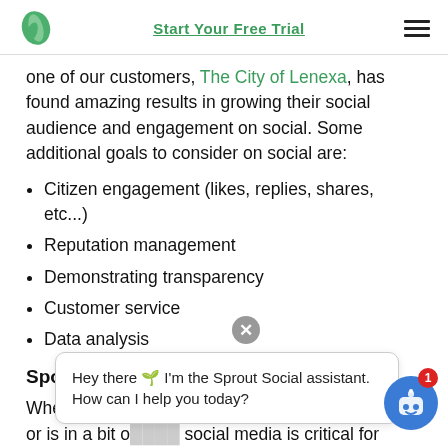Start Your Free Trial
one of our customers, The City of Lenexa, has found amazing results in growing their social audience and engagement on social. Some additional goals to consider on social are:
Citizen engagement (likes, replies, shares, etc...)
Reputation management
Demonstrating transparency
Customer service
Data analysis
Sports an...
Whether you... or is in a bit of a slump, social media is critical for